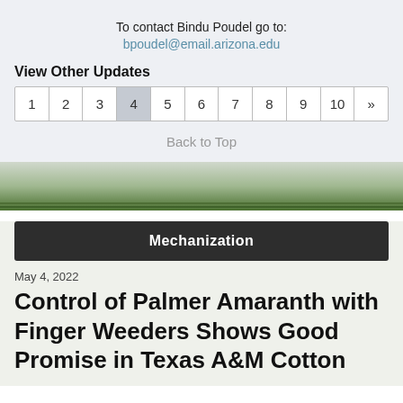To contact Bindu Poudel go to:
bpoudel@email.arizona.edu
View Other Updates
| 1 | 2 | 3 | 4 | 5 | 6 | 7 | 8 | 9 | 10 | » |
| --- | --- | --- | --- | --- | --- | --- | --- | --- | --- | --- |
Back to Top
[Figure (photo): Farm field background image with green rows and sky]
Mechanization
May 4, 2022
Control of Palmer Amaranth with Finger Weeders Shows Good Promise in Texas A&M Cotton